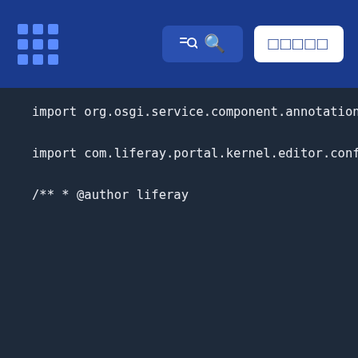Liferay documentation header with logo, search button, and CTA button
import org.osgi.service.component.annotations.Co
import org.osgi.service.component.annotations.Re

import com.liferay.portal.kernel.editor.configu
import com.liferay.portal.kernel.editor.configu
import com.liferay.portal.kernel.json.JSONArray;
import com.liferay.portal.kernel.json.JSONFactor
import com.liferay.portal.kernel.json.JSONObject
import com.liferay.portal.kernel.portlet.Reques
import com.liferay.portal.kernel.theme.ThemeDisp
import com.liferay.portal.kernel.util.Portal;
import com.liferay.portal.kernel.util.Validator.

/**
 * @author liferay